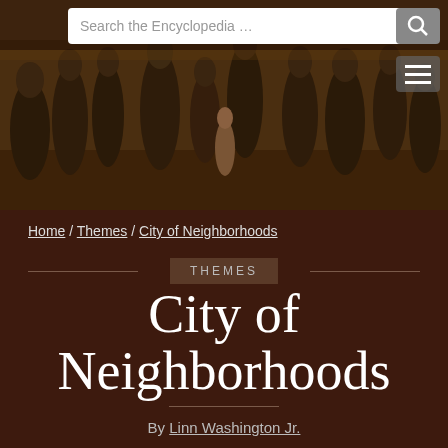[Figure (photo): Header image showing a historical painting/mural with figures in a dark sepia-toned scene, with a search bar overlay at the top and navigation elements]
Search the Encyclopedia …
Home / Themes / City of Neighborhoods
THEMES
City of Neighborhoods
By Linn Washington Jr.